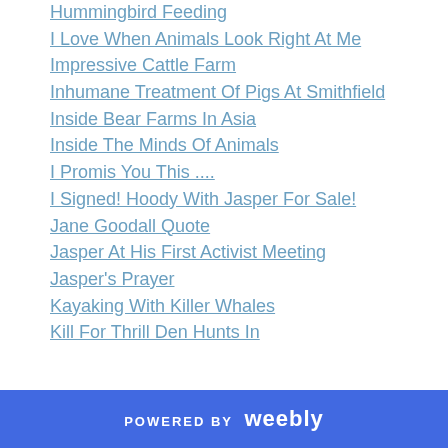Hummingbird Feeding
I Love When Animals Look Right At Me
Impressive Cattle Farm
Inhumane Treatment Of Pigs At Smithfield
Inside Bear Farms In Asia
Inside The Minds Of Animals
I Promis You This ....
I Signed! Hoody With Jasper For Sale!
Jane Goodall Quote
Jasper At His First Activist Meeting
Jasper's Prayer
Kayaking With Killer Whales
Kill For Thrill Den Hunts In
POWERED BY weebly